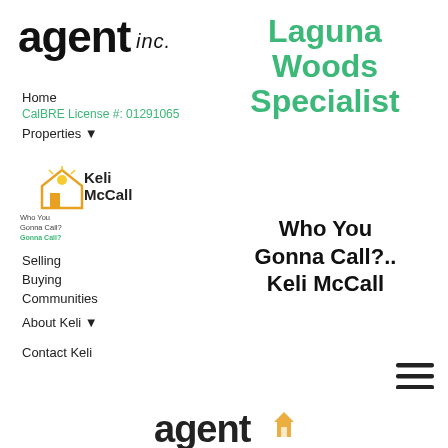[Figure (logo): agent inc. logo in bold black text with italic 'inc.']
Home
CalBRE License #: 01291065
Properties ▾
[Figure (logo): Keli McCall real estate logo with house/sun graphic, text 'Who You Gonna Call? Keli McCall']
Selling
Buying
Communities
About Keli ▾
Contact Keli
Laguna Woods Specialist
Who You Gonna Call?.. Keli McCall
[Figure (other): Hamburger menu icon (three horizontal lines)]
[Figure (logo): agent inc. logo at bottom of page, partial view]